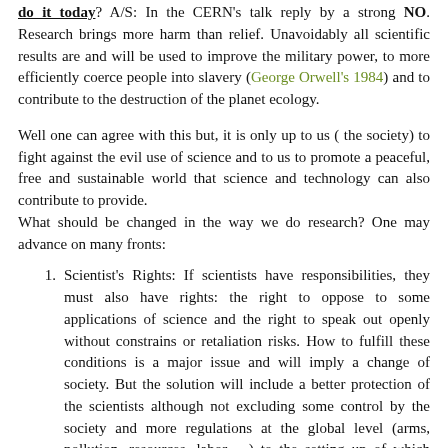do it today? A/S: In the CERN's talk reply by a strong NO. Research brings more harm than relief. Unavoidably all scientific results are and will be used to improve the military power, to more efficiently coerce people into slavery (George Orwell's 1984) and to contribute to the destruction of the planet ecology.
Well one can agree with this but, it is only up to us ( the society) to fight against the evil use of science and to us to promote a peaceful, free and sustainable world that science and technology can also contribute to provide.
What should be changed in the way we do research? One may advance on many fronts:
Scientist's Rights: If scientists have responsibilities, they must also have rights: the right to oppose to some applications of science and the right to speak out openly without constrains or retaliation risks. How to fulfill these conditions is a major issue and will imply a change of society. But the solution will include a better protection of the scientists although not excluding some control by the society and more regulations at the global level (arms, pollution, resources, labor, ...) to the setting up of which scientists should participate...
Improving the common understanding between scientists and...